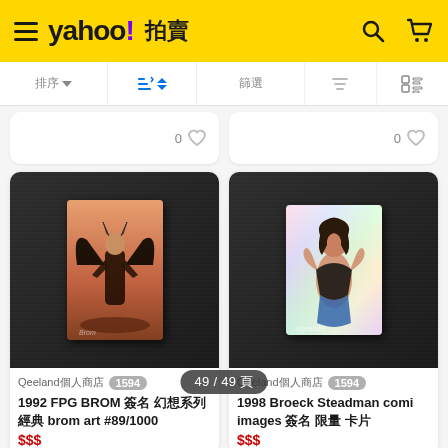Yahoo! 拍賣
排序 ▼  排列 ⬍  篩選  篩選  顯示設定
[Figure (photo): Two auction listings side by side. Left: dark background with a fantasy art trading card (1992 FPG BROM). Right: dark background with a holographic wrestling/pinup card (1998 Broeck Steadman).]
Qeeland個人商店  1594
1992 FPG BROM 簽名 幻想系列 經典 brom art #89/1000
Qeeland個人商店  1594
1998 Broeck Steadman comi images 簽名 限量 卡片
49 / 49 頁